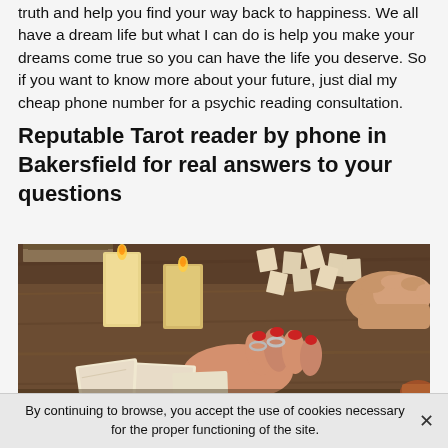truth and help you find your way back to happiness. We all have a dream life but what I can do is help you make your dreams come true so you can have the life you deserve. So if you want to know more about your future, just dial my cheap phone number for a psychic reading consultation.
Reputable Tarot reader by phone in Bakersfield for real answers to your questions
[Figure (photo): A tarot card reading scene showing hands with rings and bracelets over tarot cards spread on a wooden table, with lit candles, small tile pieces, and another person's hands clasped in the background.]
By continuing to browse, you accept the use of cookies necessary for the proper functioning of the site.